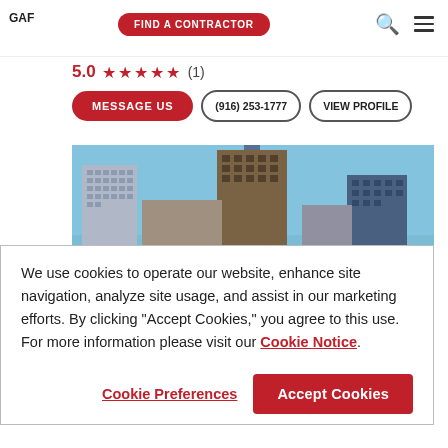GAF | FIND A CONTRACTOR
5.0 ★★★★★ (1)
MESSAGE US | (916) 253-1777 | VIEW PROFILE
[Figure (photo): City skyline photo showing downtown buildings with a flat white commercial roof in the foreground and blue sky background.]
We use cookies to operate our website, enhance site navigation, analyze site usage, and assist in our marketing efforts. By clicking "Accept Cookies," you agree to this use. For more information please visit our Cookie Notice.
Cookie Preferences | Accept Cookies